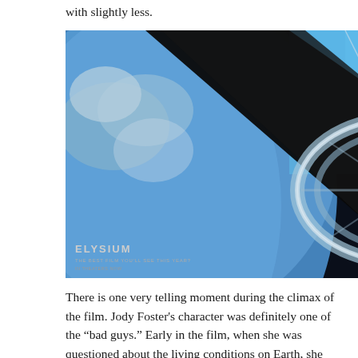with slightly less.
[Figure (photo): Movie poster/still from Elysium film showing a space station ring structure against a blue Earth background with dark structural elements in the foreground. The Elysium title text appears in the lower left corner.]
There is one very telling moment during the climax of the film. Jody Foster's character was definitely one of the “bad guys.” Early in the film, when she was questioned about the living conditions on Earth, she responded with “when one of them stands up, five of us fall down.” When she is mortally wounded during the final battle, she refuses medical treatment. She preferred to die rather than live in a world where her privileged position would change.